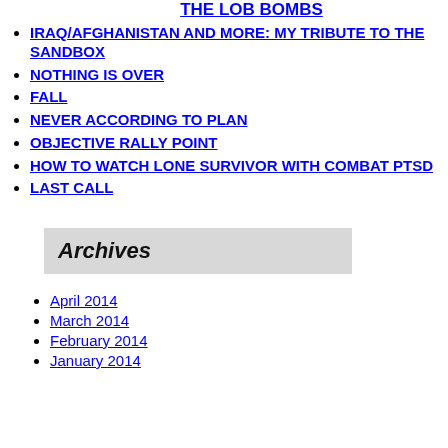THE LOB BOMBS
IRAQ/AFGHANISTAN AND MORE: MY TRIBUTE TO THE SANDBOX
NOTHING IS OVER
FALL
NEVER ACCORDING TO PLAN
OBJECTIVE RALLY POINT
HOW TO WATCH LONE SURVIVOR WITH COMBAT PTSD
LAST CALL
Archives
April 2014
March 2014
February 2014
January 2014